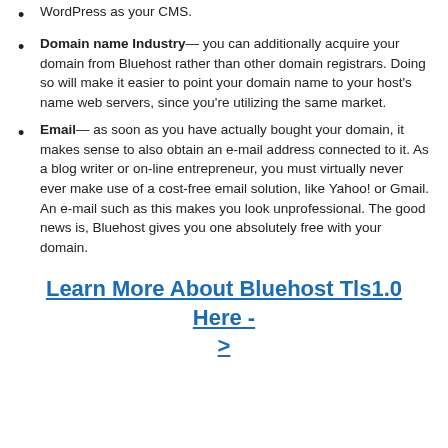WordPress as your CMS.
Domain name Industry— you can additionally acquire your domain from Bluehost rather than other domain registrars. Doing so will make it easier to point your domain name to your host's name web servers, since you're utilizing the same market.
Email— as soon as you have actually bought your domain, it makes sense to also obtain an e-mail address connected to it. As a blog writer or on-line entrepreneur, you must virtually never ever make use of a cost-free email solution, like Yahoo! or Gmail. An e-mail such as this makes you look unprofessional. The good news is, Bluehost gives you one absolutely free with your domain.
Learn More About Bluehost Tls1.0 Here - >